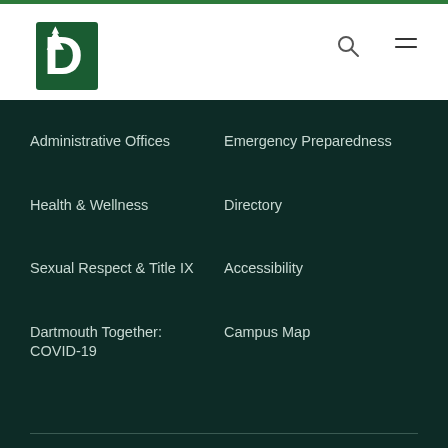[Figure (logo): Dartmouth College logo: green D with white pine tree]
Administrative Offices
Emergency Preparedness
Health & Wellness
Directory
Sexual Respect & Title IX
Accessibility
Dartmouth Together: COVID-19
Campus Map